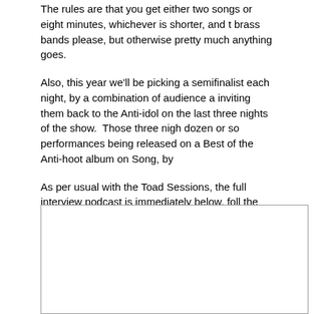The rules are that you get either two songs or eight minutes, whichever is shorter, and t… brass bands please, but otherwise pretty much anything goes.
Also, this year we'll be picking a semifinalist each night, by a combination of audience a… inviting them back to the Anti-idol on the last three nights of the show. Those three nigh… dozen or so performances being released on a Best of the Anti-hoot album on Song, by…
As per usual with the Toad Sessions, the full interview podcast is immediately below, foll… the session tracks (zip file here), videos of the individual tracks themselves (all video h… podcast. There aren't as many pictures as usual, but that's because we were a little sho… too busy with the video camera to produce the usual number of pretty pictures.
[Figure (other): Empty white box with grey border — media player or embedded content placeholder]